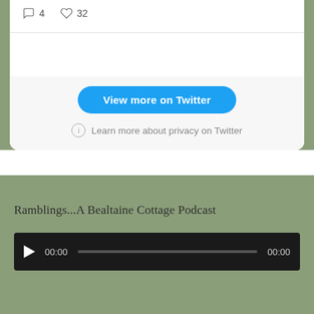[Figure (screenshot): Twitter embed card showing comment count 4 and like count 32 with a 'View more on Twitter' button and privacy notice]
Ramblings...A Bealtaine Cottage Podcast
[Figure (screenshot): Audio player with play button, 00:00 timestamp, progress bar, and 00:00 end time]